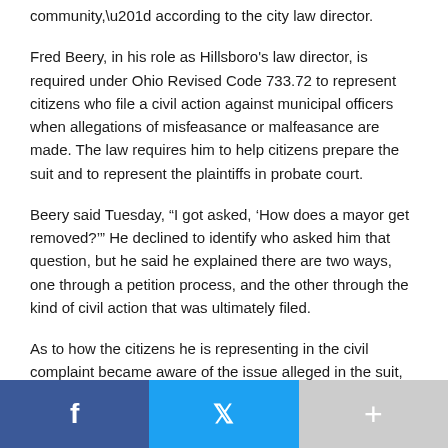community,” according to the city law director.
Fred Beery, in his role as Hillsboro’s law director, is required under Ohio Revised Code 733.72 to represent citizens who file a civil action against municipal officers when allegations of misfeasance or malfeasance are made. The law requires him to help citizens prepare the suit and to represent the plaintiffs in probate court.
Beery said Tuesday, “I got asked, ‘How does a mayor get removed?’” He declined to identify who asked him that question, but he said he explained there are two ways, one through a petition process, and the other through the kind of civil action that was ultimately filed.
As to how the citizens he is representing in the civil complaint became aware of the issue alleged in the suit, Beery would not be specific, but acknowledged that it “came out of the law enforcement community.” He added, “I think the fear was...
[Figure (other): Social share bar with Facebook (blue), Twitter (blue), and plus/more (gray) buttons]